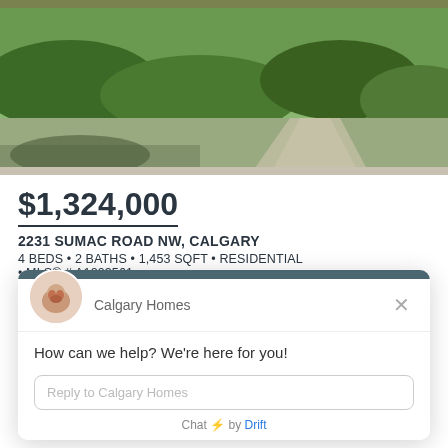[Figure (photo): Exterior photo of a residential property showing green lawn and landscaping with trees and shrubs, walkway visible]
$1,324,000
2231 SUMAC ROAD NW, CALGARY
4 BEDS • 2 BATHS • 1,453 SQFT • RESIDENTIAL • MLS® # A1203561
CENTURY 21 BAMBER REALTY LTD.
[Figure (screenshot): Chat widget popup from Drift showing Calgary Homes chat interface with message 'How can we help? We're here for you!' and a reply input field]
Calgary Homes
How can we help? We're here for you!
Reply to Calgary Homes
Chat ⚡ by Drift